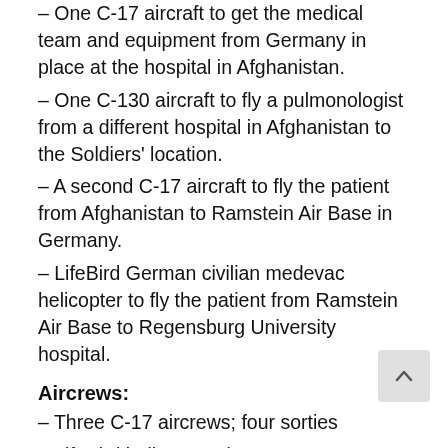One C-17 aircraft to get the medical team and equipment from Germany in place at the hospital in Afghanistan.
One C-130 aircraft to fly a pulmonologist from a different hospital in Afghanistan to the Soldiers’ location.
A second C-17 aircraft to fly the patient from Afghanistan to Ramstein Air Base in Germany.
LifeBird German civilian medevac helicopter to fly the patient from Ramstein Air Base to Regensburg University hospital.
Aircrews:
Three C-17 aircrews; four sorties
LifeBird helicopter aircrew